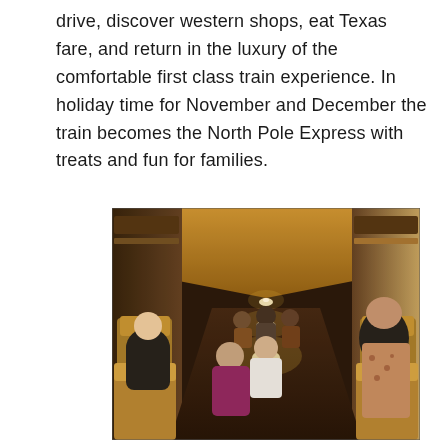drive, discover western shops, eat Texas fare, and return in the luxury of the comfortable first class train experience. In holiday time for November and December the train becomes the North Pole Express with treats and fun for families.
[Figure (photo): Interior of a luxury train car with ornate golden ceiling trim and warm pendant lights stretching down the aisle. Passengers are seated on both sides; people visible in dressed attire suggesting a holiday or special occasion train ride.]